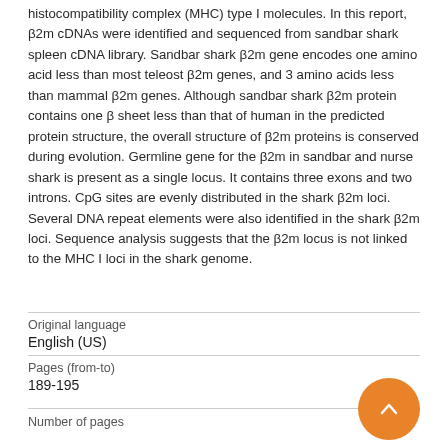histocompatibility complex (MHC) type I molecules. In this report, β2m cDNAs were identified and sequenced from sandbar shark spleen cDNA library. Sandbar shark β2m gene encodes one amino acid less than most teleost β2m genes, and 3 amino acids less than mammal β2m genes. Although sandbar shark β2m protein contains one β sheet less than that of human in the predicted protein structure, the overall structure of β2m proteins is conserved during evolution. Germline gene for the β2m in sandbar and nurse shark is present as a single locus. It contains three exons and two introns. CpG sites are evenly distributed in the shark β2m loci. Several DNA repeat elements were also identified in the shark β2m loci. Sequence analysis suggests that the β2m locus is not linked to the MHC I loci in the shark genome.
| Field | Value |
| --- | --- |
| Original language | English (US) |
| Pages (from-to) | 189-195 |
| Number of pages |  |